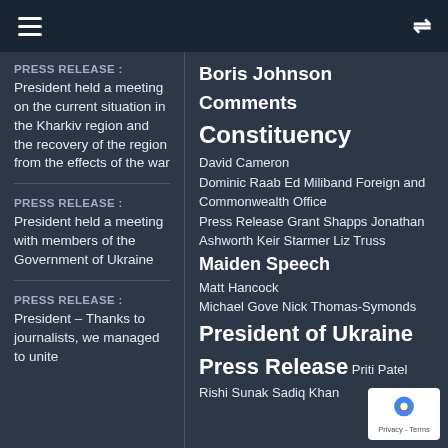Navigation bar with hamburger menu and shuffle icon
PRESS RELEASE : President held a meeting on the current situation in the Kharkiv region and the recovery of the region from the effects of the war
PRESS RELEASE : President held a meeting with members of the Government of Ukraine
PRESS RELEASE : President – Thanks to journalists, we managed to unite
Boris Johnson
Comments
Constituency
David Cameron
Dominic Raab Ed Miliband Foreign and Commonwealth Office
Press Release Grant Shapps Jonathan Ashworth Keir Starmer Liz Truss
Maiden Speech
Matt Hancock
Michael Gove Nick Thomas-Symonds
President of Ukraine Press Release
Priti Patel
Rishi Sunak Sadiq Khan